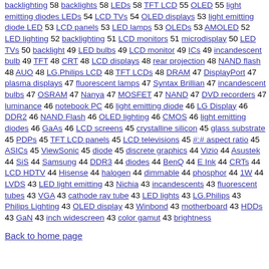backlighting 58 backlights 58 LEDs 58 TFT LCD 55 OLED 55 light emitting diodes LEDs 54 LCD TVs 54 OLED displays 53 light emitting diode LED 53 LCD panels 53 LED lamps 53 OLEDs 53 AMOLED 52 LED lighting 52 backlighting 51 LCD monitors 51 microdisplay 50 LED TVs 50 backlight 49 LED bulbs 49 LCD monitor 49 ICs 49 incandescent bulb 49 TFT 48 CRT 48 LCD displays 48 rear projection 48 NAND flash 48 AUO 48 LG.Philips LCD 48 TFT LCDs 48 DRAM 47 DisplayPort 47 plasma displays 47 fluorescent lamps 47 Syntax Brillian 47 incandescent bulbs 47 OSRAM 47 Nanya 47 MOSFET 47 NAND 47 DVD recorders 47 luminance 46 notebook PC 46 light emitting diode 46 LG Display 46 DDR2 46 NAND Flash 46 OLED lighting 46 CMOS 46 light emitting diodes 46 GaAs 46 LCD screens 45 crystalline silicon 45 glass substrate 45 PDPs 45 TFT LCD panels 45 LCD televisions 45 #:# aspect ratio 45 ASICs 45 ViewSonic 45 diode 45 discrete graphics 44 Vizio 44 Asustek 44 SiS 44 Samsung 44 DDR3 44 diodes 44 BenQ 44 E Ink 44 CRTs 44 LCD HDTV 44 Hisense 44 halogen 44 dimmable 44 phosphor 44 1W 44 LVDS 43 LED light emitting 43 Nichia 43 incandescents 43 fluorescent tubes 43 VGA 43 cathode ray tube 43 LED lights 43 LG.Philips 43 Philips Lighting 43 OLED display 43 Winbond 43 motherboard 43 HDDs 43 GaN 43 inch widescreen 43 color gamut 43 brightness
Back to home page